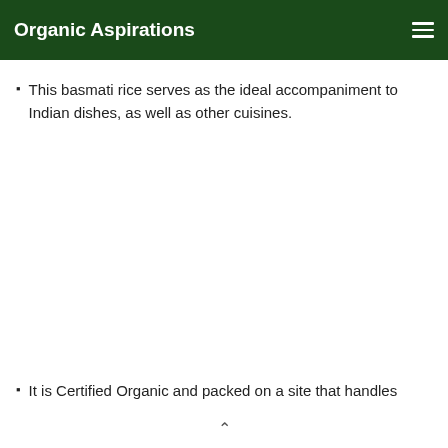Organic Aspirations
This basmati rice serves as the ideal accompaniment to Indian dishes, as well as other cuisines.
It is Certified Organic and packed on a site that handles